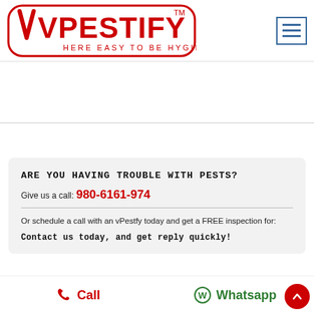[Figure (logo): vPestify logo — red text VPESTIFY with TM mark inside red rounded rectangle border, tagline HERE EASY TO BE HYGIENE below]
[Figure (other): Hamburger menu icon — three horizontal lines in blue rectangle border]
ARE YOU HAVING TROUBLE WITH PESTS?
Give us a call: 980-6161-974
Or schedule a call with an vPestfy today and get a FREE inspection for:
Contact us today, and get reply quickly!
Call
Whatsapp